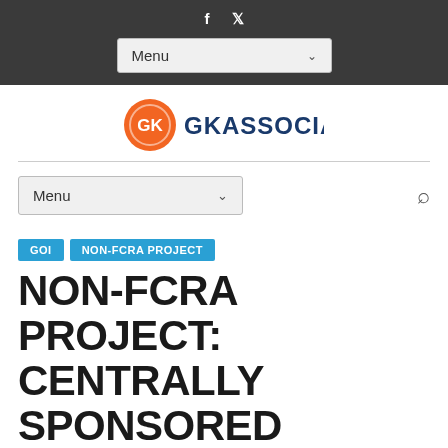f  ╲  Menu (dropdown navigation)
[Figure (logo): GK Associates logo — orange circle with GK initials and GKASSOCIATES text in navy blue]
Menu (dropdown navigation with search icon)
GOI
NON-FCRA PROJECT
NON-FCRA PROJECT: CENTRALLY SPONSORED SCHEME OF CONSTRUCTION